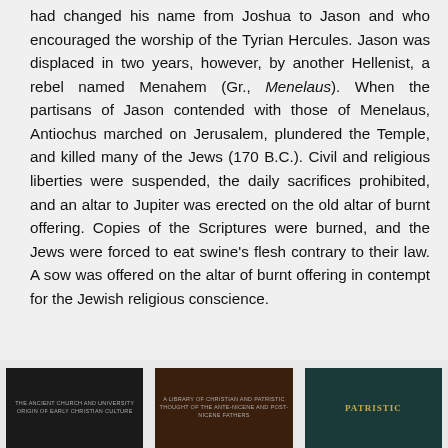had changed his name from Joshua to Jason and who encouraged the worship of the Tyrian Hercules. Jason was displaced in two years, however, by another Hellenist, a rebel named Menahem (Gr., Menelaus). When the partisans of Jason contended with those of Menelaus, Antiochus marched on Jerusalem, plundered the Temple, and killed many of the Jews (170 B.C.). Civil and religious liberties were suspended, the daily sacrifices prohibited, and an altar to Jupiter was erected on the old altar of burnt offering. Copies of the Scriptures were burned, and the Jews were forced to eat swine's flesh contrary to their law. A sow was offered on the altar of burnt offering in contempt for the Jewish religious conscience.
[Figure (photo): Three book covers partially visible at the bottom of the page: a dark/black book with small white text, a dark brown book with small text, and a teal/dark green book with gold text reading PATRISTIC]